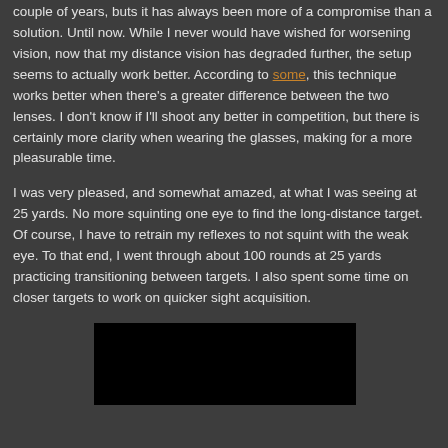couple of years, buts it has always been more of a compromise than a solution. Until now. While I never would have wished for worsening vision, now that my distance vision has degraded further, the setup seems to actually work better. According to some, this technique works better when there's a greater difference between the two lenses. I don't know if I'll shoot any better in competition, but there is certainly more clarity when wearing the glasses, making for a more pleasurable time.
I was very pleased, and somewhat amazed, at what I was seeing at 25 yards. No more squinting one eye to find the long-distance target. Of course, I have to retrain my reflexes to not squint with the weak eye. To that end, I went through about 100 rounds at 25 yards practicing transitioning between targets. I also spent some time on closer targets to work on quicker sight acquisition.
[Figure (photo): A dark/black photograph, mostly black, partially visible at the bottom of the page.]